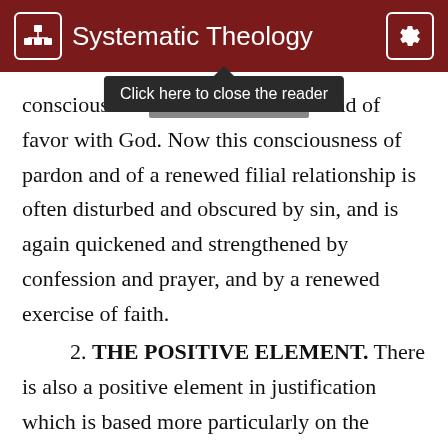Systematic Theology
consciousness of the forgiveness of sins and of favor with God. Now this consciousness of pardon and of a renewed filial relationship is often disturbed and obscured by sin, and is again quickened and strengthened by confession and prayer, and by a renewed exercise of faith.
2. THE POSITIVE ELEMENT. There is also a positive element in justification which is based more particularly on the active obedience of Christ. Naturally they who, like Piscator and the Arminians, deny the imputation of the active obedience of Christ to the sinner, thereby also deny